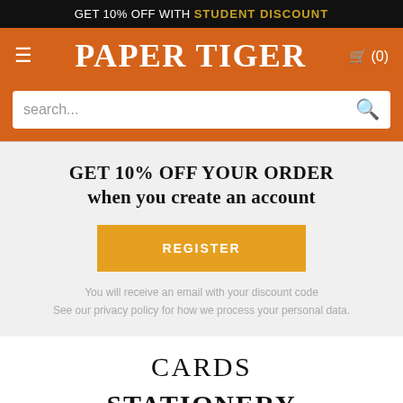GET 10% OFF WITH STUDENT DISCOUNT
PAPER TIGER
search...
GET 10% OFF YOUR ORDER when you create an account
REGISTER
You will receive an email with your discount code See our privacy policy for how we process your personal data.
CARDS
STATIONERY